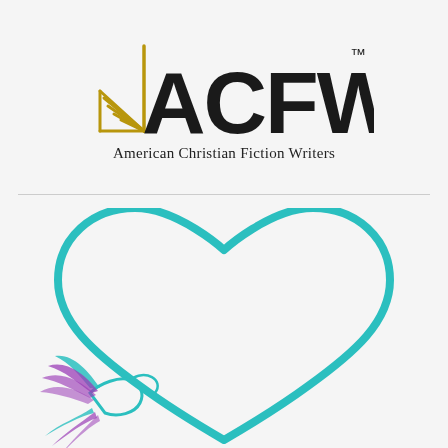[Figure (logo): ACFW logo: golden open book with quill lines on left, bold black letters ACFW with TM superscript, tagline 'American Christian Fiction Writers' below]
[Figure (illustration): Teal heart outline with italic text 'Faith, Hope, & Love' inside, and a stylized teal/purple hummingbird in the lower left of the heart]